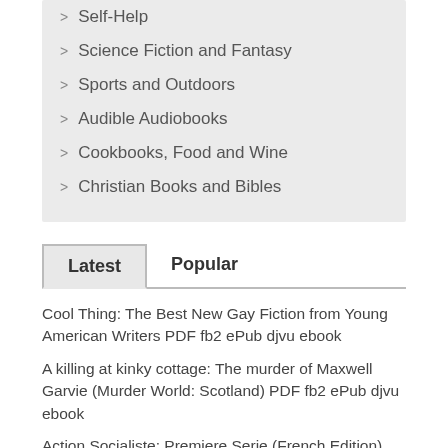Self-Help
Science Fiction and Fantasy
Sports and Outdoors
Audible Audiobooks
Cookbooks, Food and Wine
Christian Books and Bibles
Latest	Popular
Cool Thing: The Best New Gay Fiction from Young American Writers PDF fb2 ePub djvu ebook
A killing at kinky cottage: The murder of Maxwell Garvie (Murder World: Scotland) PDF fb2 ePub djvu ebook
Action Socialiste: Premiere Serie (French Edition) PDF Text ePub djvu ebook
Seasons of Goodbye: Working Your Way Through Loss PDF fb2 ePub djvu book